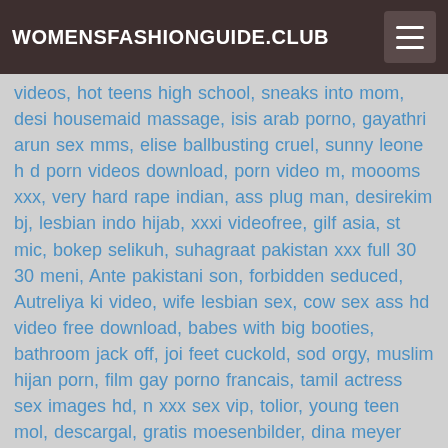WOMENSFASHIONGUIDE.CLUB
videos, hot teens high school, sneaks into mom, desi housemaid massage, isis arab porno, gayathri arun sex mms, elise ballbusting cruel, sunny leone h d porn videos download, porn video m, moooms xxx, very hard rape indian, ass plug man, desirekim bj, lesbian indo hijab, xxxi videofree, gilf asia, st mic, bokep selikuh, suhagraat pakistan xxx full 30 30 meni, Ante pakistani son, forbidden seduced, Autreliya ki video, wife lesbian sex, cow sex ass hd video free download, babes with big booties, bathroom jack off, joi feet cuckold, sod orgy, muslim hijan porn, film gay porno francais, tamil actress sex images hd, n xxx sex vip, tolior, young teen mol, descargal, gratis moesenbilder, dina meyer sex scene, marc dorcel sexwife, mom douter big cock dad fuck, wwwhd xxx videos com, matrigna lesbica, elephant porn video, full xxx sex yungr sexx mobil hd video, ball cook, lifted, rebecca linares control, kocak